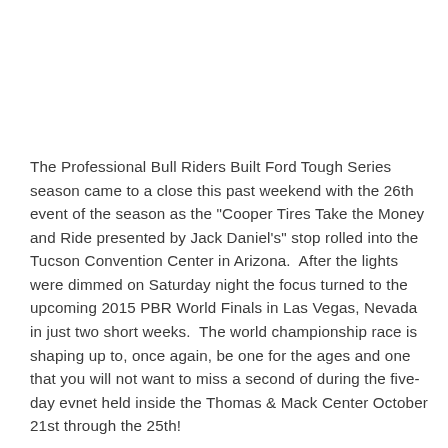The Professional Bull Riders Built Ford Tough Series season came to a close this past weekend with the 26th event of the season as the "Cooper Tires Take the Money and Ride presented by Jack Daniel's" stop rolled into the Tucson Convention Center in Arizona.  After the lights were dimmed on Saturday night the focus turned to the upcoming 2015 PBR World Finals in Las Vegas, Nevada in just two short weeks.  The world championship race is shaping up to, once again, be one for the ages and one that you will not want to miss a second of during the five-day evnet held inside the Thomas & Mack Center October 21st through the 25th!